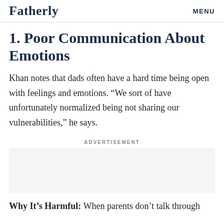Fatherly   MENU
1. Poor Communication About Emotions
Khan notes that dads often have a hard time being open with feelings and emotions. “We sort of have unfortunately normalized being not sharing our vulnerabilities,” he says.
ADVERTISEMENT
Why It’s Harmful: When parents don’t talk through